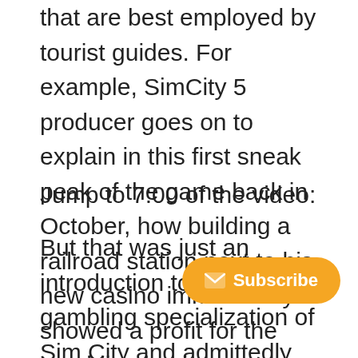that are best employed by tourist guides. For example, SimCity 5 producer goes on to explain in this first sneak peak of the game back in October, how building a railroad station next to his new casino immediately showed a profit for the gambling business.
Jump to 7:00 of the video:
But that was just an introduction to the gambling specialization of Sim City and admittedly right to the point. For a more thorough analysis of the Sim City gambling specialization, there are a couple of Sim City gambling guides at Yout[…] in the next 5 minutes of the tutorial […] made by IGN Entertainment. SimCity players are advised to